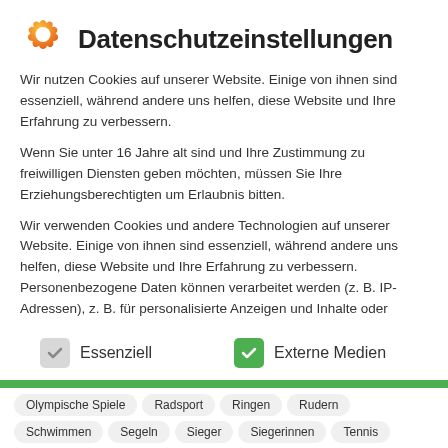Datenschutzeinstellungen
Wir nutzen Cookies auf unserer Website. Einige von ihnen sind essenziell, während andere uns helfen, diese Website und Ihre Erfahrung zu verbessern.
Wenn Sie unter 16 Jahre alt sind und Ihre Zustimmung zu freiwilligen Diensten geben möchten, müssen Sie Ihre Erziehungsberechtigten um Erlaubnis bitten.
Wir verwenden Cookies und andere Technologien auf unserer Website. Einige von ihnen sind essenziell, während andere uns helfen, diese Website und Ihre Erfahrung zu verbessern. Personenbezogene Daten können verarbeitet werden (z. B. IP-Adressen), z. B. für personalisierte Anzeigen und Inhalte oder
Essenziell
Externe Medien
Olympische Spiele
Radsport
Ringen
Rudern
Schwimmen
Segeln
Sieger
Siegerinnen
Tennis
Turnen
Wasserball
Wasserspringen
Weltmeister